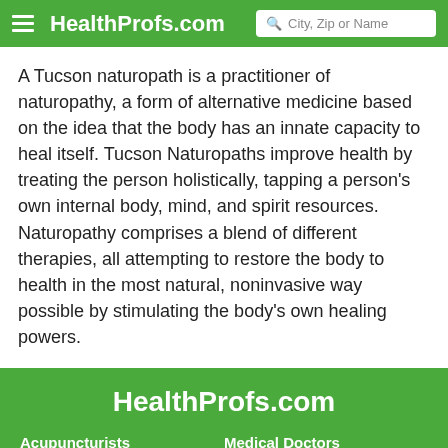HealthProfs.com
A Tucson naturopath is a practitioner of naturopathy, a form of alternative medicine based on the idea that the body has an innate capacity to heal itself. Tucson Naturopaths improve health by treating the person holistically, tapping a person's own internal body, mind, and spirit resources. Naturopathy comprises a blend of different therapies, all attempting to restore the body to health in the most natural, noninvasive way possible by stimulating the body's own healing powers.
HealthProfs.com
Acupuncturists
Medical Doctors
Chiropractors
Naturopaths
Dentists
Nutritionists and Dietitians